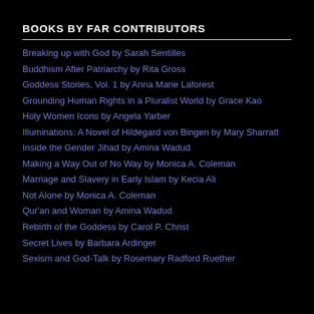BOOKS BY FAR CONTRIBUTORS
Breaking up with God by Sarah Sentilles
Buddhism After Patriarchy by Rita Gross
Goddess Stories, Vol. 1 by Anna Marie Laforest
Grounding Human Rights in a Pluralist World by Grace Kao
Holy Women Icons by Angela Yarber
Illuminations: A Novel of Hildegard von Bingen by Mary Sharratt
Inside the Gender Jihad by Amina Wadud
Making a Way Out of No Way by Monica A. Coleman
Marriage and Slavery in Early Islam by Kecia Ali
Not Alone by Monica A. Coleman
Qur'an and Woman by Amina Wadud
Rebirth of the Goddess by Carol P. Christ
Secret Lives by Barbara Ardinger
Sexism and God-Talk by Rosemary Radford Ruether